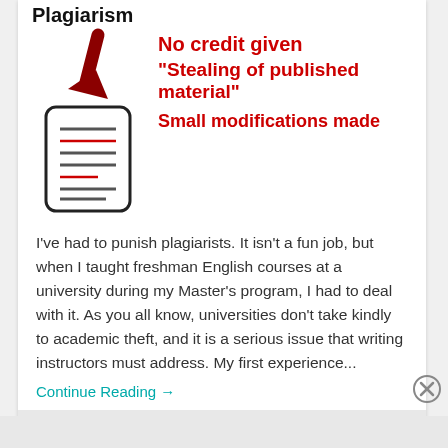Plagiarism
[Figure (infographic): Red arrow pointing down to a document icon with red strikethrough lines, alongside red bold text: No credit given, 'Stealing of published material', Small modifications made]
I've had to punish plagiarists. It isn't a fun job, but when I taught freshman English courses at a university during my Master's program, I had to deal with it. As you all know, universities don't take kindly to academic theft, and it is a serious issue that writing instructors must address. My first experience...
Continue Reading →
Advertisements